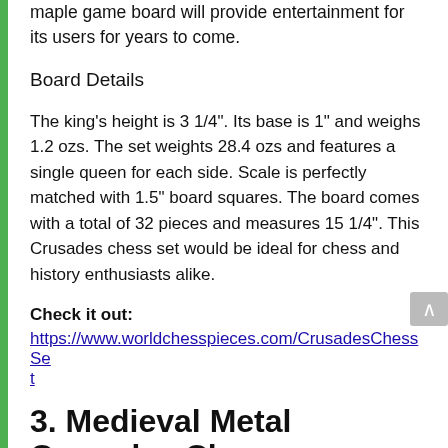maple game board will provide entertainment for its users for years to come.
Board Details
The king’s height is 3 1/4”. Its base is 1” and weighs 1.2 ozs. The set weights 28.4 ozs and features a single queen for each side. Scale is perfectly matched with 1.5” board squares. The board comes with a total of 32 pieces and measures 15 1/4”. This Crusades chess set would be ideal for chess and history enthusiasts alike.
Check it out:
https://www.worldchesspieces.com/CrusadesChessSet
3. Medieval Metal Crusades Ch...